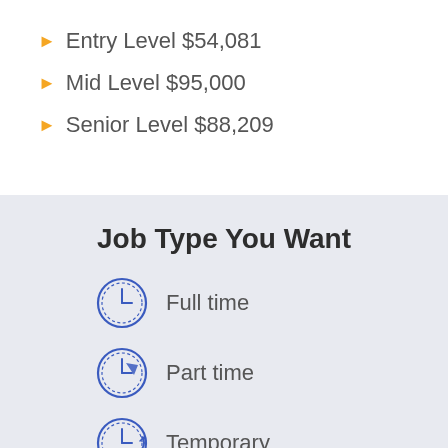Entry Level $54,081
Mid Level $95,000
Senior Level $88,209
Job Type You Want
Full time
Part time
Temporary